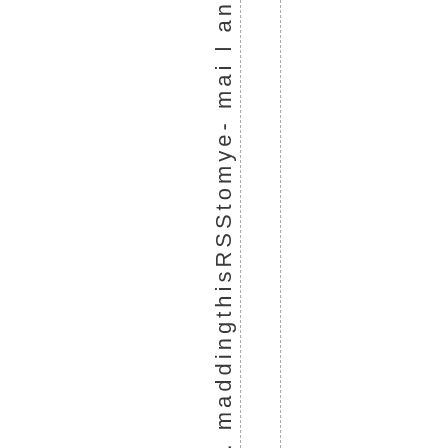ayl. maddingthisRSStomye- mai l an